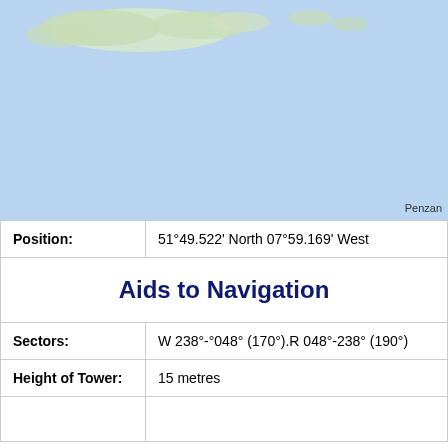[Figure (map): Nautical/geographic map showing coastal area with light blue sea and land masses (islands) in the upper portion. Label 'Penzan' (Penzance) partially visible at bottom right of map.]
| Position: | 51°49.522' North 07°59.169' West |
|  | Aids to Navigation |
| Sectors: | W 238°-°048° (170°).R 048°-238° (190°) |
| Height of Tower: | 15 metres |
|  |  |